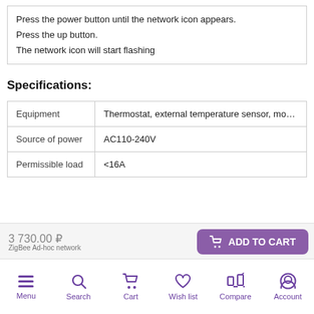Press the power button until the network icon appears.
Press the up button.
The network icon will start flashing
Specifications:
|  |  |
| --- | --- |
| Equipment | Thermostat, external temperature sensor, mounting screws |
| Source of power | AC110-240V |
| Permissible load | <16A |
3 730.00 ₽
ZigBee Ad-hoc network
Menu  Search  Cart  Wish list  Compare  Account